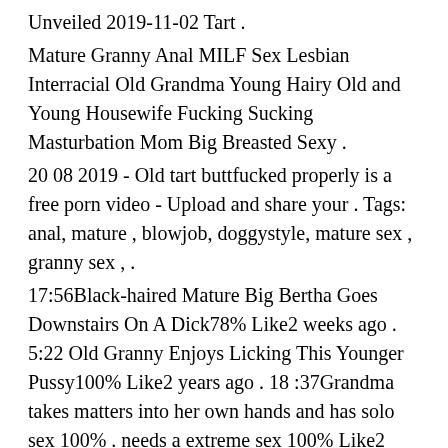Unveiled 2019-11-02 Tart .
Mature Granny Anal MILF Sex Lesbian Interracial Old Grandma Young Hairy Old and Young Housewife Fucking Sucking Masturbation Mom Big Breasted Sexy .
20 08 2019 - Old tart buttfucked properly is a free porn video - Upload and share your . Tags: anal, mature , blowjob, doggystyle, mature sex , granny sex , .
17:56Black-haired Mature Big Bertha Goes Downstairs On A Dick78% Like2 weeks ago . 5:22 Old Granny Enjoys Licking This Younger Pussy100% Like2 years ago . 18 :37Grandma takes matters into her own hands and has solo sex 100% . needs a extreme sex 100% Like2 years ago; 20:51 Mature Redhead Tart With .